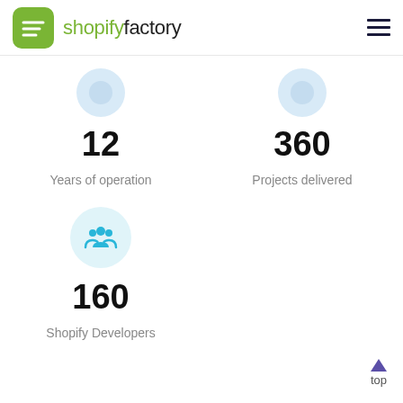[Figure (logo): Shopify Factory logo — green rounded square with white diagonal lines icon, followed by brand name 'shopifyfactory' in green and black]
12
360
Years of operation
Projects delivered
[Figure (illustration): Teal circle with group/team icon (people silhouettes) representing Shopify Developers]
160
Shopify Developers
top